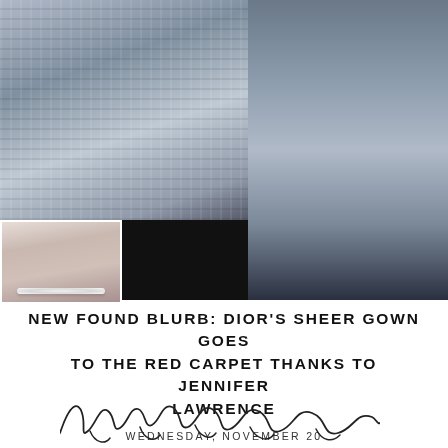[Figure (photo): Fashion photo collage: left image shows models on runway wearing sheer layered grey/blue gowns with geometric pattern, right tall image shows close-up of sheer textured blue-grey gown skirt on runway, small bottom-left inset portrait of woman wearing pearl necklace]
NEW FOUND BLURB: DIOR'S SHEER GOWN GOES TO THE RED CARPET THANKS TO JENNIFER LAWRENCE
WEDNESDAY, NOVEMBER 20